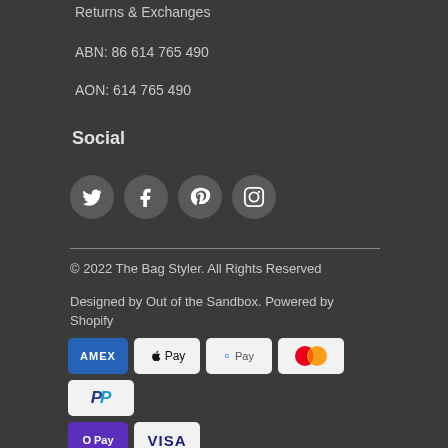Returns & Exchanges
ABN: 86 614 765 490
AON: 614 765 490
Social
[Figure (illustration): Four social media icon circles: Twitter, Facebook, Pinterest, Instagram]
© 2022 The Bag Styler. All Rights Reserved
Designed by Out of the Sandbox. Powered by Shopify
[Figure (other): Payment method badges: American Express, Apple Pay, Google Pay, Mastercard, PayPal, OPay, Visa]